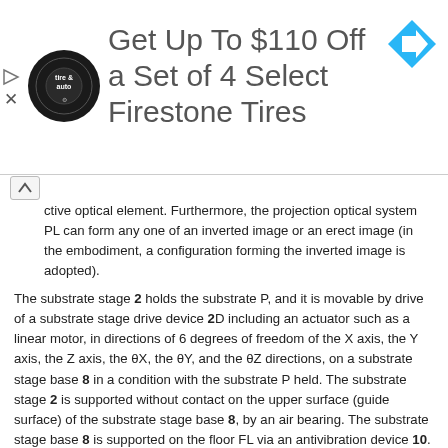[Figure (infographic): Advertisement banner: tire and auto logo on left, headline 'Get Up To $110 Off a Set of 4 Select Firestone Tires', blue navigation arrow icon on right. Small play and close (X) icons on far left edge.]
ctive optical element. Furthermore, the projection optical system PL can form any one of an inverted image or an erect image (in the embodiment, a configuration forming the inverted image is adopted).
The substrate stage 2 holds the substrate P, and it is movable by drive of a substrate stage drive device 2D including an actuator such as a linear motor, in directions of 6 degrees of freedom of the X axis, the Y axis, the Z axis, the θX, the θY, and the θZ directions, on a substrate stage base 8 in a condition with the substrate P held. The substrate stage 2 is supported without contact on the upper surface (guide surface) of the substrate stage base 8, by an air bearing. The substrate stage base 8 is supported on the floor FL via an antivibration device 10. The position information of the substrate stage 2 (and in turn the substrate P) is measured by a laser interferometer 15. The laser interferometer 15 measures the position information related to the X axis, the Y axis, and the θZ directions of the substrate stage 2 using a reflecting surface 2 which is provided on the substrate stage 2. The exposure apparatus EX includes a focus leveling system (not shown in the figure) capable of detecting the surface information related to 2 on the substrate P, the X axis, the Y axis, and the θX